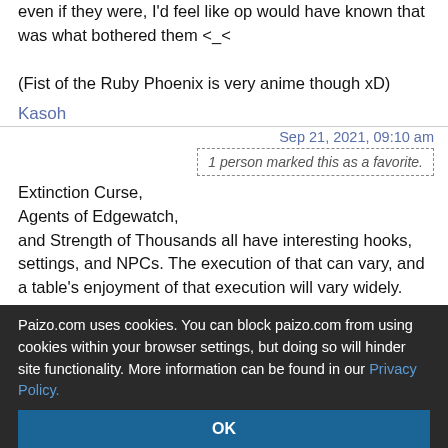even if they were, I'd feel like op would have known that was what bothered them <_<
(Fist of the Ruby Phoenix is very anime though xD)
Kasoh
Sep 21, 2021, 09:10 am
1 person marked this as a favorite.
Extinction Curse, Agents of Edgewatch, and Strength of Thousands all have interesting hooks, settings, and NPCs. The execution of that can vary, and a table's enjoyment of that execution will vary widely.
Abomination Vaults is...a lot of dungeon. Its good for what it is. I find it kind of boring to GM, frankly. The
Paizo.com uses cookies. You can block paizo.com from using cookies within your browser settings, but doing so will hinder site functionality. More information can be found in our Privacy Policy.
OK